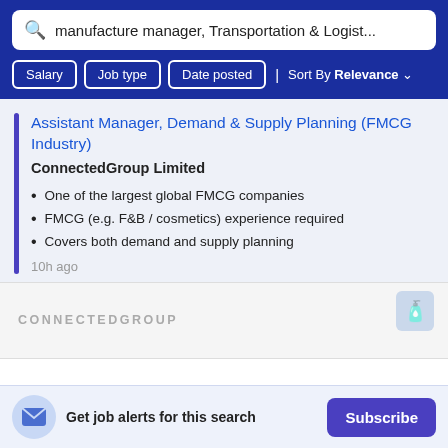manufacture manager, Transportation & Logist...
Salary | Job type | Date posted | Sort By Relevance
Assistant Manager, Demand & Supply Planning (FMCG Industry)
ConnectedGroup Limited
One of the largest global FMCG companies
FMCG (e.g. F&B / cosmetics) experience required
Covers both demand and supply planning
10h ago
[Figure (logo): ConnectedGroup company logo banner]
Get job alerts for this search